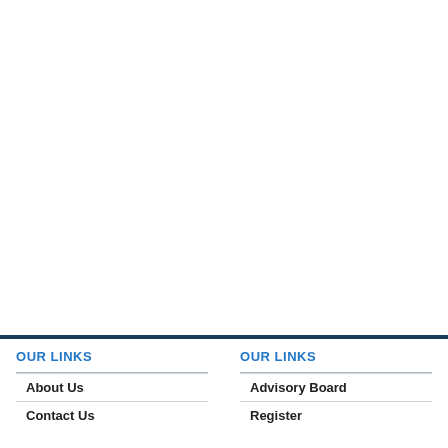OUR LINKS
About Us
Contact Us
OUR LINKS
Advisory Board
Register